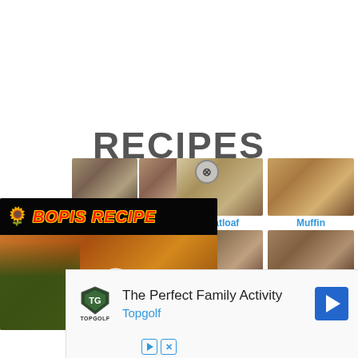RECIPES
[Figure (photo): Grid of recipe food photos showing meatloaf, muffin, cookie/flatbread, and crumble dishes in a 2x2 arrangement on the right side]
[Figure (screenshot): Bopis Recipe video thumbnail overlay showing a chef with a stir-fried dish in a skillet, with play button, yellow sunflower icon, and red italic text BOPIS RECIPE on black background]
Meatloaf
Muffin
[Figure (screenshot): Topgolf advertisement banner: The Perfect Family Activity / Topgolf with navigation arrow icon and Topgolf shield logo]